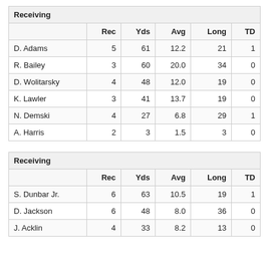|  | Rec | Yds | Avg | Long | TD |
| --- | --- | --- | --- | --- | --- |
| D. Adams | 5 | 61 | 12.2 | 21 | 1 |
| R. Bailey | 3 | 60 | 20.0 | 34 | 0 |
| D. Wolitarsky | 4 | 48 | 12.0 | 19 | 0 |
| K. Lawler | 3 | 41 | 13.7 | 19 | 0 |
| N. Demski | 4 | 27 | 6.8 | 29 | 1 |
| A. Harris | 2 | 3 | 1.5 | 3 | 0 |
|  | Rec | Yds | Avg | Long | TD |
| --- | --- | --- | --- | --- | --- |
| S. Dunbar Jr. | 6 | 63 | 10.5 | 19 | 1 |
| D. Jackson | 6 | 48 | 8.0 | 36 | 0 |
| J. Acklin | 4 | 33 | 8.2 | 13 | 0 |